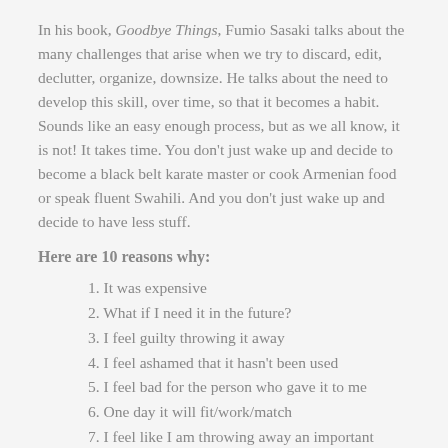In his book, Goodbye Things, Fumio Sasaki talks about the many challenges that arise when we try to discard, edit, declutter, organize, downsize. He talks about the need to develop this skill, over time, so that it becomes a habit. Sounds like an easy enough process, but as we all know, it is not! It takes time. You don't just wake up and decide to become a black belt karate master or cook Armenian food or speak fluent Swahili. And you don't just wake up and decide to have less stuff.
Here are 10 reasons why:
1. It was expensive
2. What if I need it in the future?
3. I feel guilty throwing it away
4. I feel ashamed that it hasn't been used
5. I feel bad for the person who gave it to me
6. One day it will fit/work/match
7. I feel like I am throwing away an important